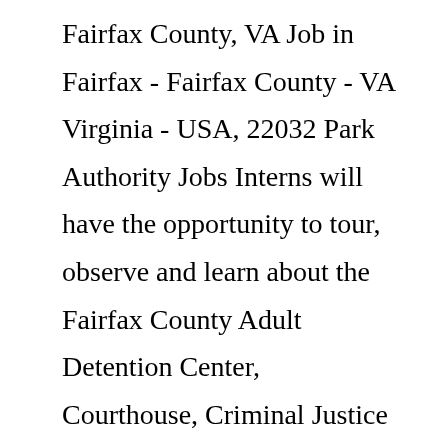Fairfax County, VA Job in Fairfax - Fairfax County - VA Virginia - USA, 22032 Park Authority Jobs Interns will have the opportunity to tour, observe and learn about the Fairfax County Adult Detention Center, Courthouse, Criminal Justice Academy and Merrifield Crisis Response Center Based on 1 Salaries Full Metro Area Below is a partial list of organizations CLS students have interned with as part of the CLS Internship Program Hiring multiple